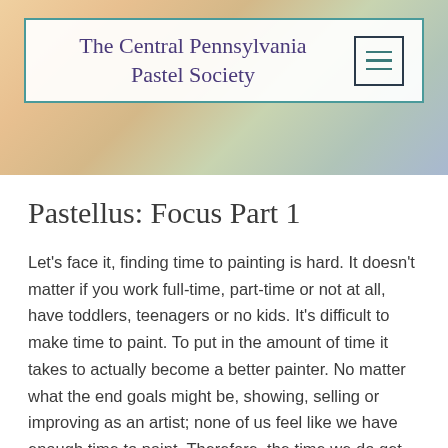[Figure (screenshot): Header banner with colorful pastel art supplies in the background. A white box with teal border contains the text 'The Central Pennsylvania Pastel Society' and a hamburger menu icon in a black bordered square.]
Pastellus: Focus Part 1
Let's face it, finding time to painting is hard.  It doesn't matter if you work full-time, part-time or not at all, have toddlers, teenagers or no kids.  It's difficult to make time to paint.  To put in the amount of time it takes to actually become a better painter.  No matter what the end goals might be, showing, selling or improving as an artist; none of us feel like we have enough time to paint. Therefore, the time we do get to spend painting shouldn't be aimless.